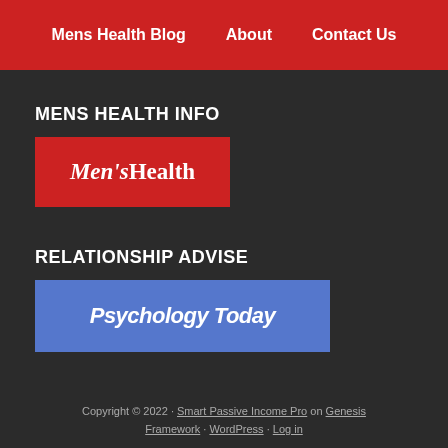Mens Health Blog | About | Contact Us
MENS HEALTH INFO
[Figure (logo): Men's Health magazine logo — red background with white serif italic text reading Men'sHealth]
RELATIONSHIP ADVISE
[Figure (logo): Psychology Today logo — blue background with white bold italic text reading Psychology Today]
Copyright © 2022 · Smart Passive Income Pro on Genesis Framework · WordPress · Log in